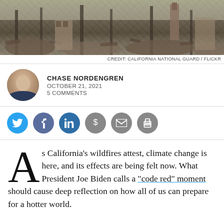[Figure (photo): Aerial or ground-level view of buildings destroyed by wildfire, showing rubble, burned structures, and charred debris against a light sky.]
CREDIT: CALIFORNIA NATIONAL GUARD / FLICKR
CHASE NORDENGREN
OCTOBER 21, 2021
5 COMMENTS
[Figure (infographic): Social sharing buttons: Twitter (blue), Facebook (dark blue), LinkedIn (blue), Dollar sign (gray), Email (gray), Print (gray)]
As California's wildfires attest, climate change is here, and its effects are being felt now. What President Joe Biden calls a “code red” moment should cause deep reflection on how all of us can prepare for a hotter world.